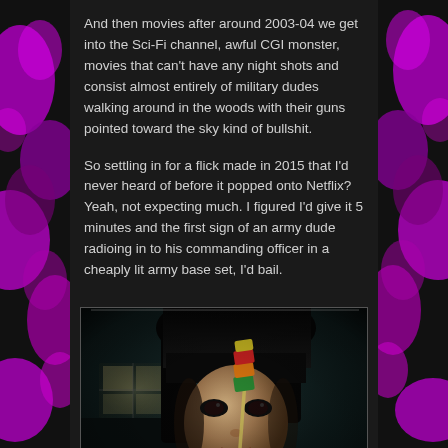And then movies after around 2003-04 we get into the Sci-Fi channel, awful CGI monster, movies that can't have any night shots and consist almost entirely of military dudes walking around in the woods with their guns pointed toward the sky kind of bullshit.
So settling in for a flick made in 2015 that I'd never heard of before it popped onto Netflix? Yeah, not expecting much. I figured I'd give it 5 minutes and the first sign of an army dude radioing in to his commanding officer in a cheaply lit army base set, I'd bail.
[Figure (photo): Dark cinematic still from a film showing a young Asian girl with dark bangs holding a colorful stacked lollipop/candy in front of her face, looking intensely at it. Dark moody lighting with a blurred background.]